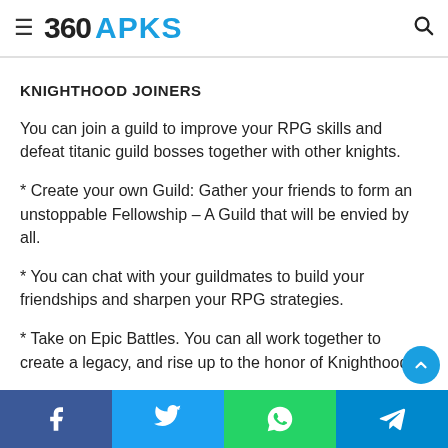360 APKS
KNIGHTHOOD JOINERS
You can join a guild to improve your RPG skills and defeat titanic guild bosses together with other knights.
* Create your own Guild: Gather your friends to form an unstoppable Fellowship – A Guild that will be envied by all.
* You can chat with your guildmates to build your friendships and sharpen your RPG strategies.
* Take on Epic Battles. You can all work together to create a legacy, and rise up to the honor of Knighthood.
Facebook Twitter WhatsApp Telegram